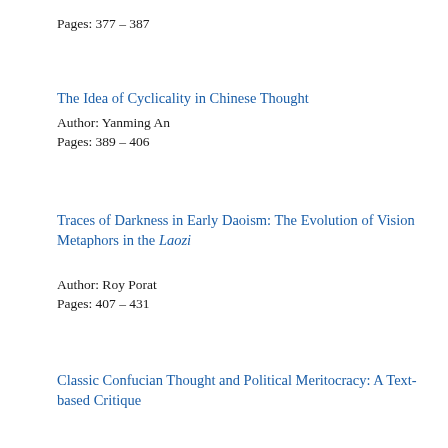Pages: 377 – 387
The Idea of Cyclicality in Chinese Thought
Author: Yanming An
Pages: 389 – 406
Traces of Darkness in Early Daoism: The Evolution of Vision Metaphors in the Laozi
Author: Roy Porat
Pages: 407 – 431
Classic Confucian Thought and Political Meritocracy: A Text-based Critique